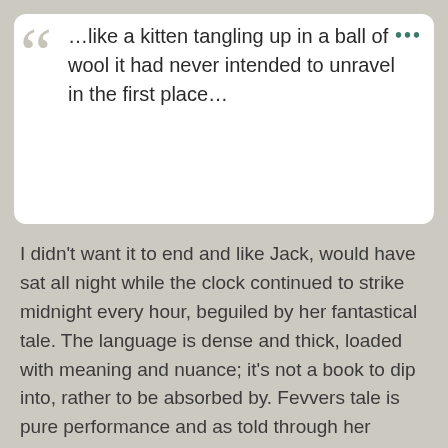…like a kitten tangling up in a ball of wool it had never intended to unravel in the first place…
I didn't want it to end and like Jack, would have sat all night while the clock continued to strike midnight every hour, beguiled by her fantastical tale. The language is dense and thick, loaded with meaning and nuance; it's not a book to dip into, rather to be absorbed by. Fevvers tale is pure performance and as told through her throaty, rude, sentimental and genuine voice, it is truly gripping.